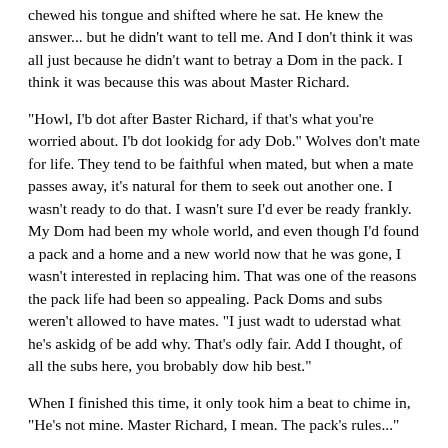chewed his tongue and shifted where he sat. He knew the answer... but he didn't want to tell me. And I don't think it was all just because he didn't want to betray a Dom in the pack. I think it was because this was about Master Richard.
“Howl, I’b dot after Baster Richard, if that’s what you’re worried about. I’b dot lookidg for ady Dob.” Wolves don’t mate for life. They tend to be faithful when mated, but when a mate passes away, it’s natural for them to seek out another one. I wasn’t ready to do that. I wasn’t sure I’d ever be ready frankly. My Dom had been my whole world, and even though I’d found a pack and a home and a new world now that he was gone, I wasn’t interested in replacing him. That was one of the reasons the pack life had been so appealing. Pack Doms and subs weren’t allowed to have mates. “I just wadt to uderstad what he’s askidg of be add why. That’s odly fair. Add I thought, of all the subs here, you brobably dow hib best.”
When I finished this time, it only took him a beat to chime in, “He’s not mine. Master Richard, I mean. The pack’s rules...”
“I dow,” I reassured him just as quickly. “I didn’t bead it like that. Of course you follow the rules. I just dow that you’re brotective of hib. So I wadted to bake sure you uderstood this is sobethidg he asked for. I would’t get hib sick on burbose. Id fact, I feel weird adough doidg it even after he asked me. I was traght to look by...